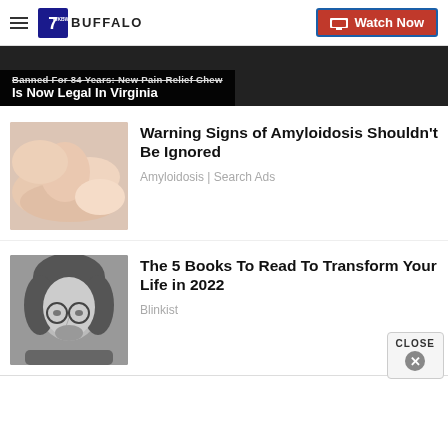7 BUFFALO | Watch Now
[Figure (screenshot): Partially visible banner with text: Banned For 84 Years: New Pain Relief Chew Is Now Legal In Virginia]
[Figure (photo): Hands massaging or pinching skin - medical/health related image]
Warning Signs of Amyloidosis Shouldn't Be Ignored
Amyloidosis | Search Ads
[Figure (photo): Black and white photo of young man with long hair and round glasses]
The 5 Books To Read To Transform Your Life in 2022
Blinkist